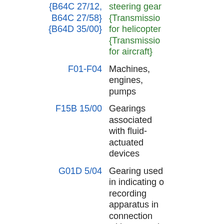| Code | Description |
| --- | --- |
| {B64C 27/12, B64C 27/58} {B64D 35/00} | {Transmission for helicopters} {Transmission for aircraft} |
| F01-F04 | Machines, engines, pumps |
| F15B 15/00 | Gearings associated with fluid-actuated devices |
| G01D 5/04 | Gearing used in indicating or recording apparatus in connection with measuring devices |
| H03J 1/00 | Driving arrangements for tuning |